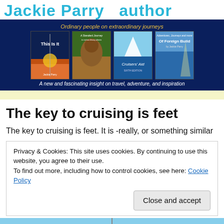Jackie Parry – author
[Figure (illustration): Dark blue banner with four book covers by Jackie Parry. Top tagline in yellow: 'Ordinary people on extraordinary journeys'. Books shown: 'This Is It', 'A Standard Journey', 'Cruisers' Aid', 'Of Foreign Build'. Bottom text in white: 'A new and fascinating insight on travel, adventure, and inspiration']
The key to cruising is feet
The key to cruising is feet. It is -really, or something similar
Privacy & Cookies: This site uses cookies. By continuing to use this website, you agree to their use.
To find out more, including how to control cookies, see here: Cookie Policy
Close and accept
[Figure (photo): Partial bottom image showing a sailing scene with mast and sky]